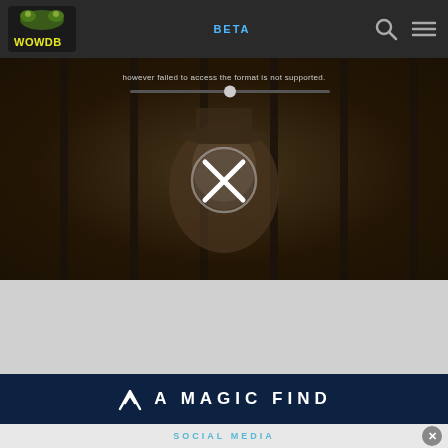WOWDB BETA
[Figure (screenshot): Video player with error overlay showing an X icon and error text 'however failed to access the format is not supported.' over a dark scene of a person behind bars]
[Figure (logo): A Magic Find logo - stylized M symbol followed by 'A MAGIC FIND' text in white on dark navy background]
SOCIAL MEDIA